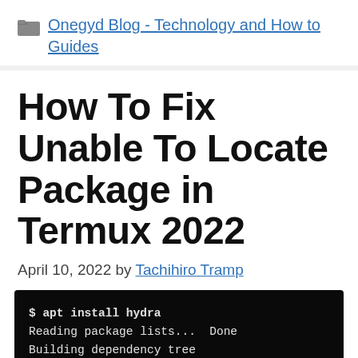Onegyd Blog - Technology and How to Guides
How To Fix Unable To Locate Package in Termux 2022
April 10, 2022 by Tachihiro Tramp
[Figure (screenshot): Terminal screenshot showing apt install hydra command with error: E: Unable to locate package hydra]